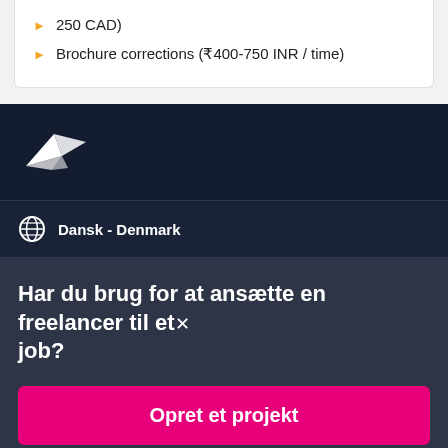250 CAD)
Brochure corrections (₹400-750 INR / time)
[Figure (logo): Freelancer.com logo — white origami bird/paper plane icon on dark navy background]
Dansk - Denmark
Har du brug for at ansætte en freelancer til et job?
Opret et projekt